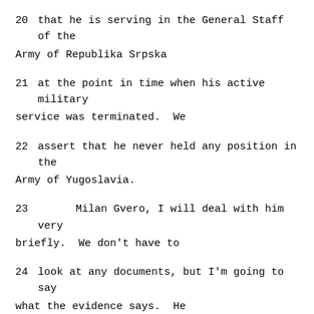20    that he is serving in the General Staff of the Army of Republika Srpska
21    at the point in time when his active military service was terminated.  We
22    assert that he never held any position in the Army of Yugoslavia.
23          Milan Gvero, I will deal with him very briefly.  We don't have to
24    look at any documents, but I'm going to say what the evidence says.  He
25    was appointed to a position that he held throughout the war.  As for this